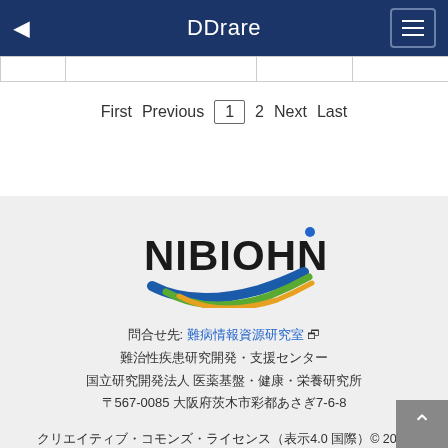DDrare
|  |
First  Previous  1  2  Next  Last
[Figure (logo): NIBIOHN logo with swoosh graphic in blue, green, and orange colors]
問合せ先: 難病情報資源研究室 難治性疾患研究開発・支援センター 国立研究開発法人 医薬基盤・健康・栄養研究所 〒567-0085 大阪府茨木市彩都あさぎ7-6-8
クリエイティブ・コモンズ・ライセンス（表示4.0 国際）© 2022 国立研究開発法人医薬基盤・健康・栄養研究所